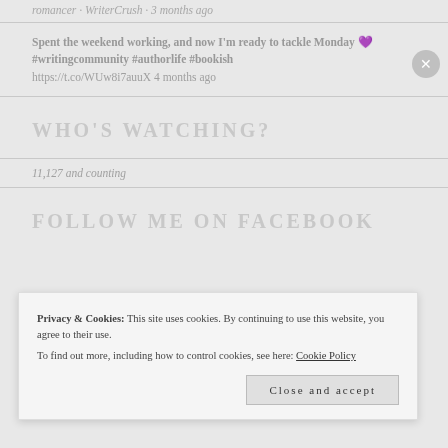romancer · WriterCrush · 3 months ago
Spent the weekend working, and now I'm ready to tackle Monday 💜#writingcommunity #authorlife #bookish https://t.co/WUw8i7auuX 4 months ago
WHO'S WATCHING?
11,127 and counting
FOLLOW ME ON FACEBOOK
Privacy & Cookies: This site uses cookies. By continuing to use this website, you agree to their use. To find out more, including how to control cookies, see here: Cookie Policy
Close and accept